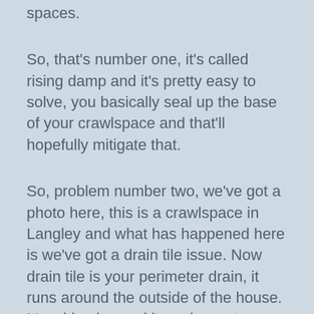spaces.
So, that's number one, it's called rising damp and it's pretty easy to solve, you basically seal up the base of your crawlspace and that'll hopefully mitigate that.
So, problem number two, we've got a photo here, this is a crawlspace in Langley and what has happened here is we've got a drain tile issue. Now drain tile is your perimeter drain, it runs around the outside of the house. It's a big pipe and it carries water, ground water and rain water away from the house. It keeps